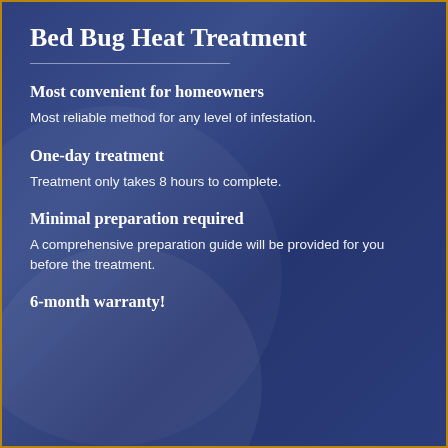Bed Bug Heat Treatment
Most convenient for homeowners
Most reliable method for any level of infestation.
One-day treatment
Treatment only takes 8 hours to complete.
Minimal preparation required
A comprehensive preparation guide will be provided for you before the treatment.
6-month warranty!